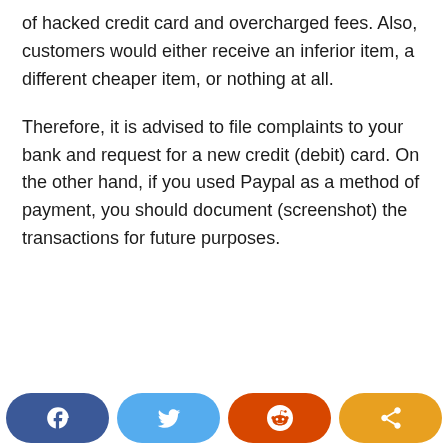of hacked credit card and overcharged fees. Also, customers would either receive an inferior item, a different cheaper item, or nothing at all.
Therefore, it is advised to file complaints to your bank and request for a new credit (debit) card. On the other hand, if you used Paypal as a method of payment, you should document (screenshot) the transactions for future purposes.
[Figure (other): Social sharing buttons: Facebook (dark blue), Twitter (light blue), Reddit (orange-red), Share (amber/orange)]